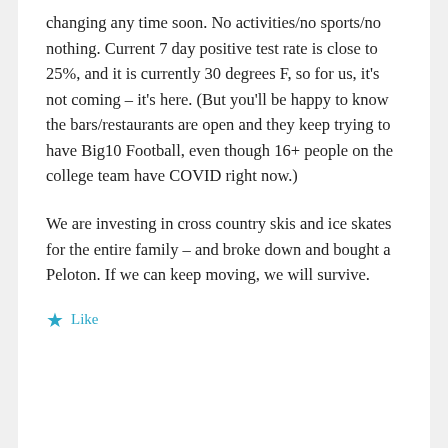changing any time soon. No activities/no sports/no nothing. Current 7 day positive test rate is close to 25%, and it is currently 30 degrees F, so for us, it's not coming – it's here. (But you'll be happy to know the bars/restaurants are open and they keep trying to have Big10 Football, even though 16+ people on the college team have COVID right now.)
We are investing in cross country skis and ice skates for the entire family – and broke down and bought a Peloton. If we can keep moving, we will survive.
★ Like